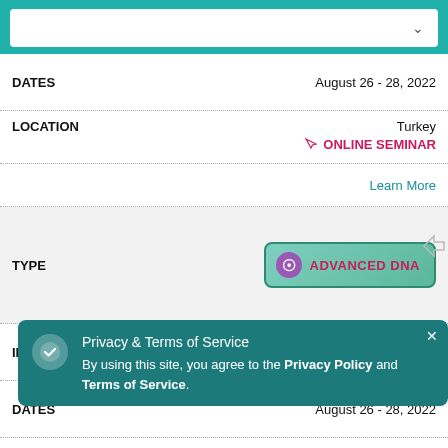[Figure (screenshot): Dropdown selector box with chevron arrow at top of page on teal background]
| Field | Value |
| --- | --- |
| DATES | August 26 - 28, 2022 |
| LOCATION | Turkey / ONLINE SEMINAR |
|  | Learn More |
| TYPE | ADVANCED DNA badge |
| INSTRUCTOR | Critina Nishimori |
| DATES | August 26 - 28, 2022 |
| LOCATION | Brazil / ONLINE SEMINAR |
| TYPE |  |
Privacy & Terms of Service
By using this site, you agree to the Privacy Policy and Terms of Service.